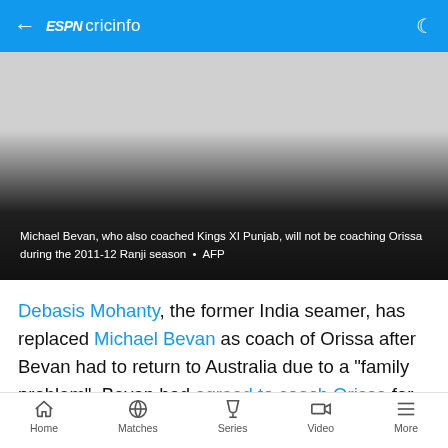ESPN cricinfo
[Figure (photo): Photo of Michael Bevan with dark gradient overlay at bottom showing caption text]
Michael Bevan, who also coached Kings XI Punjab, will not be coaching Orissa during the 2011-12 Ranji season • AFP
Debasis Mohanty, the former India seamer, has replaced Michael Bevan as coach of Orissa after Bevan had to return to Australia due to a "family problem". Bevan had agreed to coach Orissa for the 2011-12 domestic season in India and began his term
Home  Matches  Series  Video  More